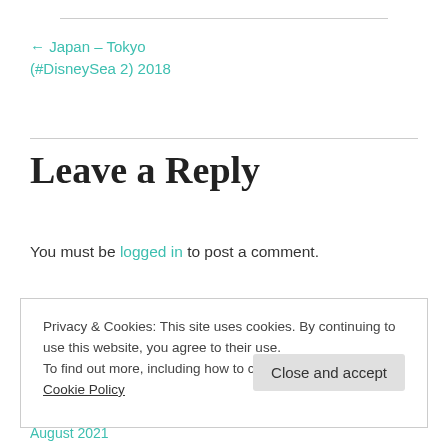← Japan – Tokyo (#DisneySea 2) 2018
Leave a Reply
You must be logged in to post a comment.
Privacy & Cookies: This site uses cookies. By continuing to use this website, you agree to their use.
To find out more, including how to control cookies, see here: Cookie Policy
Close and accept
August 2021